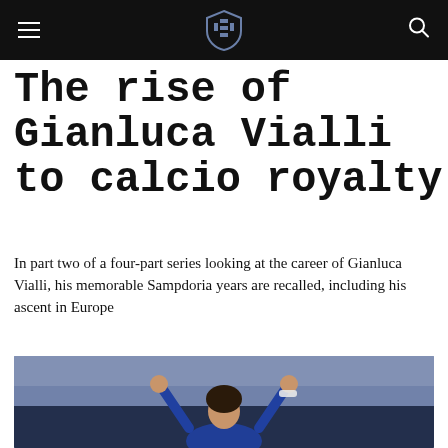The Rise of Gianluca Vialli to calcio royalty
The Rise of Gianluca Vialli to calcio royalty
In part two of a four-part series looking at the career of Gianluca Vialli, his memorable Sampdoria years are recalled, including his ascent in Europe
[Figure (photo): Gianluca Vialli celebrating with both fists raised wearing a blue Sampdoria jersey, with a crowd in the background]